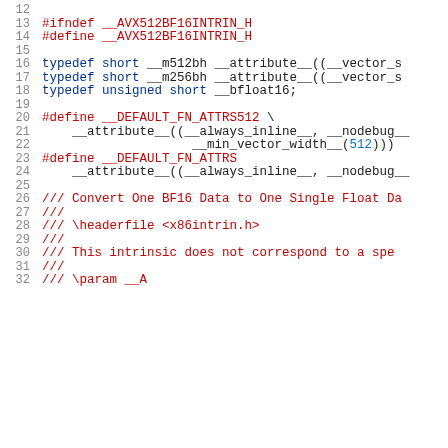Source code listing: avx512bf16intrin.h, lines 12-32
12   (blank)
13   #ifndef __AVX512BF16INTRIN_H
14   #define __AVX512BF16INTRIN_H
15   (blank)
16   typedef short __m512bh __attribute__((__vector_s
17   typedef short __m256bh __attribute__((__vector_s
18   typedef unsigned short __bfloat16;
19   (blank)
20   #define __DEFAULT_FN_ATTRS512 \
21     __attribute__((__always_inline__, __nodebug__
22                   __min_vector_width__(512)))
23   #define __DEFAULT_FN_ATTRS
24     __attribute__((__always_inline__, __nodebug__
25   (blank)
26   /// Convert One BF16 Data to One Single Float Da
27   ///
28   /// \headerfile <x86intrin.h>
29   ///
30   /// This intrinsic does not correspond to a spe
31   ///
32   /// \param __A